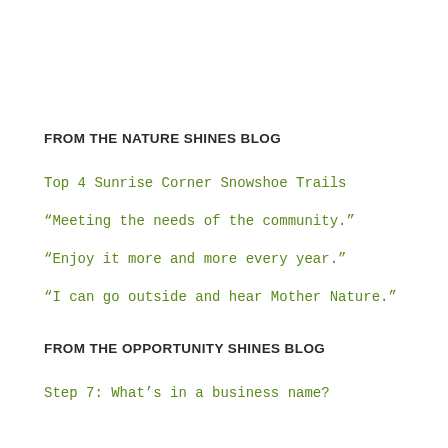FROM THE NATURE SHINES BLOG
Top 4 Sunrise Corner Snowshoe Trails
“Meeting the needs of the community.”
“Enjoy it more and more every year.”
“I can go outside and hear Mother Nature.”
FROM THE OPPORTUNITY SHINES BLOG
Step 7: What’s in a business name?